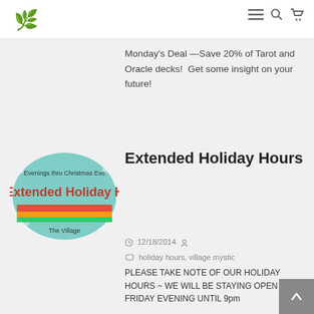Village Mystic header with logo and navigation icons
Monday's Deal —Save 20% of Tarot and Oracle decks!  Get some insight on your future!
[Figure (illustration): Oval teal badge reading 'Evenings thru Christmas Extended Holiday Hours – The Village']
Extended Holiday Hours
12/18/2014  holiday hours, village mystic
PLEASE TAKE NOTE OF OUR HOLIDAY HOURS ~ WE WILL BE STAYING OPEN FRIDAY EVENING UNTIL 9pm